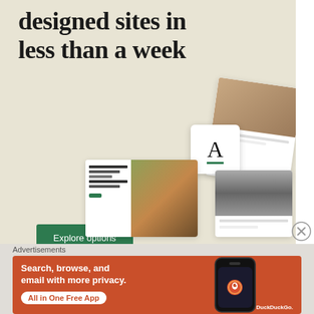designed sites in less than a week
[Figure (illustration): Green 'Explore options' button on beige background]
[Figure (screenshot): Website builder mockup cards showing food photography and design templates with font selector]
Advertisements
[Figure (infographic): DuckDuckGo advertisement banner on orange-red background. Text reads: Search, browse, and email with more privacy. All in One Free App. Shows a smartphone with DuckDuckGo logo and brand name.]